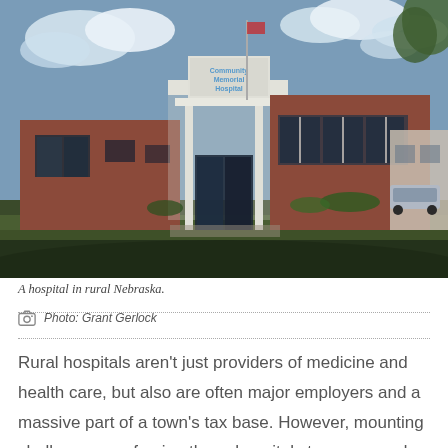[Figure (photo): Exterior of Community Memorial Hospital, a brick building with a white entrance canopy and sign reading Community Memorial Hospital, green lawn in foreground, parked vehicles visible, blue sky with clouds.]
A hospital in rural Nebraska.
Photo: Grant Gerlock
Rural hospitals aren't just providers of medicine and health care, but also are often major employers and a massive part of a town's tax base. However, mounting challenges are forcing these hospitals to merge and close